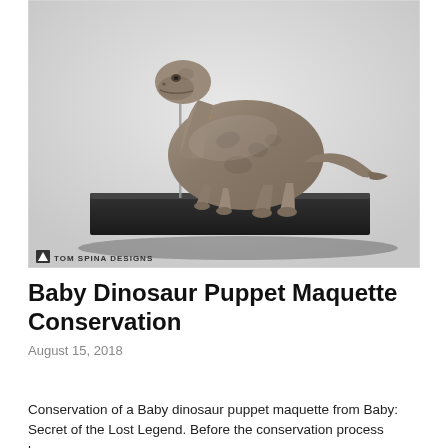[Figure (photo): A baby dinosaur puppet maquette (brachiosaurus/sauropod type) sculpture mounted on a black rectangular base with a thin metal support rod. The sculpture is gray-brown with textured skin detail. A 'TOM SPINA DESIGNS' watermark logo appears in the lower-left corner of the image.]
Baby Dinosaur Puppet Maquette Conservation
August 15, 2018
Conservation of a Baby dinosaur puppet maquette from Baby: Secret of the Lost Legend. Before the conservation process began